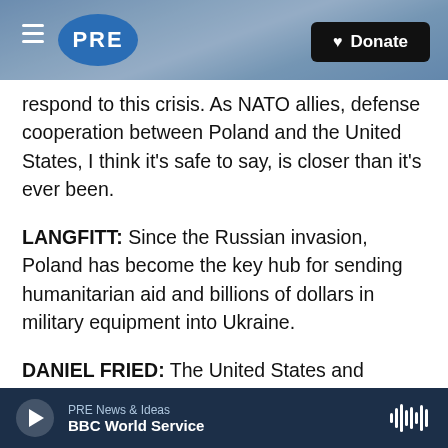[Figure (screenshot): PRE radio website header with logo and Donate button over ocean wave background image]
respond to this crisis. As NATO allies, defense cooperation between Poland and the United States, I think it's safe to say, is closer than it's ever been.
LANGFITT: Since the Russian invasion, Poland has become the key hub for sending humanitarian aid and billions of dollars in military equipment into Ukraine.
DANIEL FRIED: The United States and Poland suddenly found themselves in a wartime alliance.
LANGFITT: Daniel Fried served as U.S. ambassador
PRE News & Ideas  BBC World Service